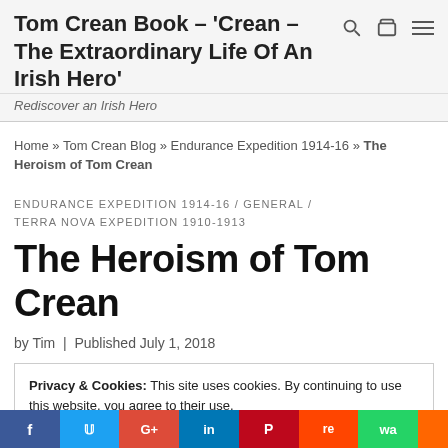Tom Crean Book – 'Crean – The Extraordinary Life Of An Irish Hero'
Rediscover an Irish Hero
Home » Tom Crean Blog » Endurance Expedition 1914-16 » The Heroism of Tom Crean
ENDURANCE EXPEDITION 1914-16 / GENERAL / TERRA NOVA EXPEDITION 1910-1913
The Heroism of Tom Crean
by Tim  |  Published July 1, 2018
Privacy & Cookies: This site uses cookies. By continuing to use this website, you agree to their use.
To find out more, including how to control cookies, see here: Cookie Policy
Close and accept